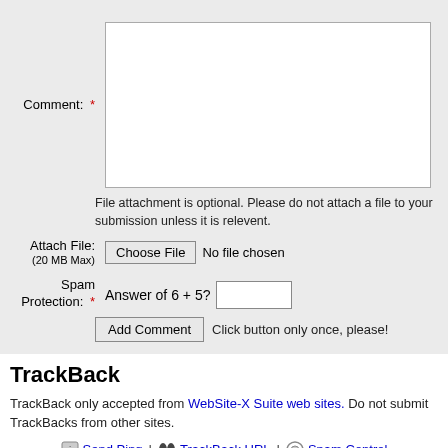Comment: * [textarea]
File attachment is optional. Please do not attach a file to your submission unless it is relevent.
Attach File: (20 MB Max) [Choose File] No file chosen
Spam Protection: * Answer of 6 + 5? [input]
[Add Comment] Click button only once, please!
TrackBack
TrackBack only accepted from WebSite-X Suite web sites. Do not submit TrackBacks from other sites.
Send Ping | TrackBack URL | Spam Control
No TrackBacks yet. TrackBack can be used to link this thread to your weblog, or weblog to this thread. In addition, TrackBack can be used as a form of remote.